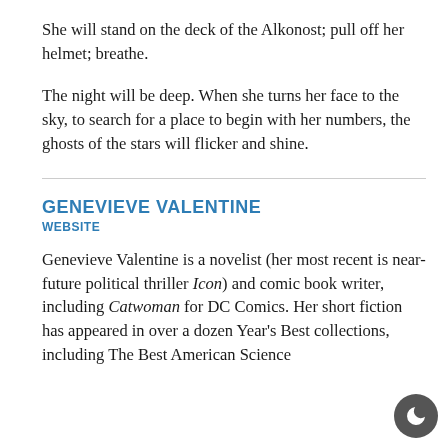She will stand on the deck of the Alkonost; pull off her helmet; breathe.
The night will be deep. When she turns her face to the sky, to search for a place to begin with her numbers, the ghosts of the stars will flicker and shine.
GENEVIEVE VALENTINE
WEBSITE
Genevieve Valentine is a novelist (her most recent is near-future political thriller Icon) and comic book writer, including Catwoman for DC Comics. Her short fiction has appeared in over a dozen Year's Best collections, including The Best American Science